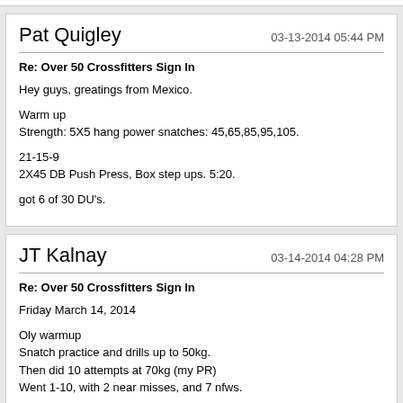Pat Quigley — 03-13-2014 05:44 PM
Re: Over 50 Crossfitters Sign In

Hey guys, greatings from Mexico.

Warm up
Strength: 5X5 hang power snatches: 45,65,85,95,105.

21-15-9
2X45 DB Push Press, Box step ups. 5:20.

got 6 of 30 DU's.
JT Kalnay — 03-14-2014 04:28 PM
Re: Over 50 Crossfitters Sign In

Friday March 14, 2014

Oly warmup
Snatch practice and drills up to 50kg.
Then did 10 attempts at 70kg (my PR)
Went 1-10, with 2 near misses, and 7 nfws.

Got a great tip from Kim Williams.